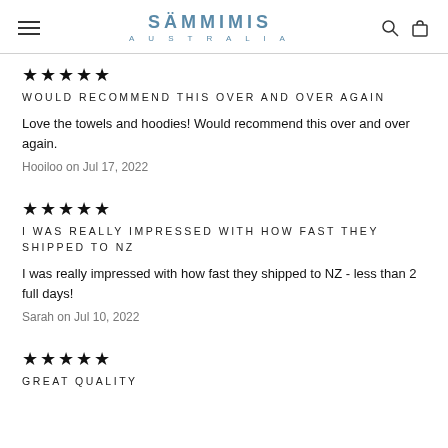SÄMMIMIS AUSTRALIA
★★★★★
WOULD RECOMMEND THIS OVER AND OVER AGAIN
Love the towels and hoodies! Would recommend this over and over again.
Hooiloo on Jul 17, 2022
★★★★★
I WAS REALLY IMPRESSED WITH HOW FAST THEY SHIPPED TO NZ
I was really impressed with how fast they shipped to NZ - less than 2 full days!
Sarah on Jul 10, 2022
★★★★★
GREAT QUALITY